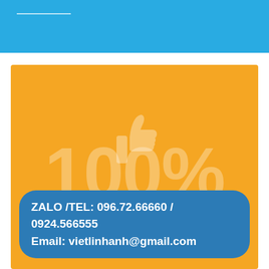[Figure (infographic): Blue header bar with a white horizontal line near the top left]
[Figure (infographic): Orange square background with a faded thumbs-up icon and large faded '100%' text, plus a blue rounded rectangle contact badge at the bottom containing phone and email contact information]
ZALO /TEL: 096.72.66660 / 0924.566555
Email: vietlinhanh@gmail.com